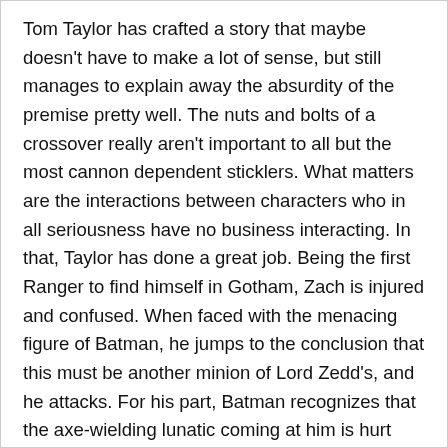Tom Taylor has crafted a story that maybe doesn't have to make a lot of sense, but still manages to explain away the absurdity of the premise pretty well. The nuts and bolts of a crossover really aren't important to all but the most cannon dependent sticklers. What matters are the interactions between characters who in all seriousness have no business interacting. In that, Taylor has done a great job. Being the first Ranger to find himself in Gotham, Zach is injured and confused. When faced with the menacing figure of Batman, he jumps to the conclusion that this must be another minion of Lord Zedd's, and he attacks. For his part, Batman recognizes that the axe-wielding lunatic coming at him is hurt and disoriented, and does his level best to deescalate the situation without getting killed. The dialogue is well-written and fast paced, paying respect to the personalities and traits fans would expect from established characters, not just posing as an excuse to toss around rapid fire quips and catch-phrases.
The other important factor in any comic book is the art.